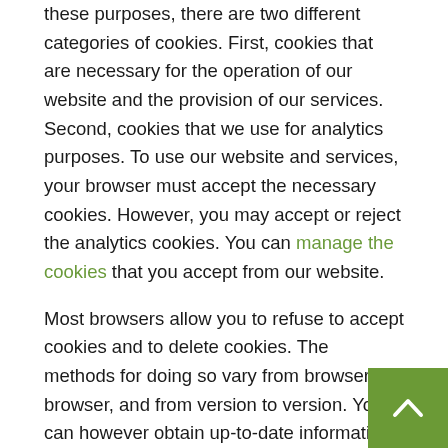these purposes, there are two different categories of cookies. First, cookies that are necessary for the operation of our website and the provision of our services. Second, cookies that we use for analytics purposes. To use our website and services, your browser must accept the necessary cookies. However, you may accept or reject the analytics cookies. You can manage the cookies that you accept from our website.
Most browsers allow you to refuse to accept cookies and to delete cookies. The methods for doing so vary from browser to browser, and from version to version. You can however obtain up-to-date information about blocking and deleting cookies via these links:
a)  https://support.google.com/chrome/answer/956hl=en (Chrome);